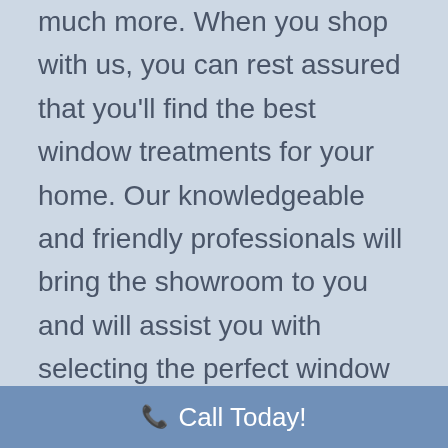much more. When you shop with us, you can rest assured that you'll find the best window treatments for your home. Our knowledgeable and friendly professionals will bring the showroom to you and will assist you with selecting the perfect window fashions for your space. We'll take the proper measurements to ensure a precise fit and will expertly install your new treatments for you, too. For the finest selection of Melville, NY window...
Call Today!